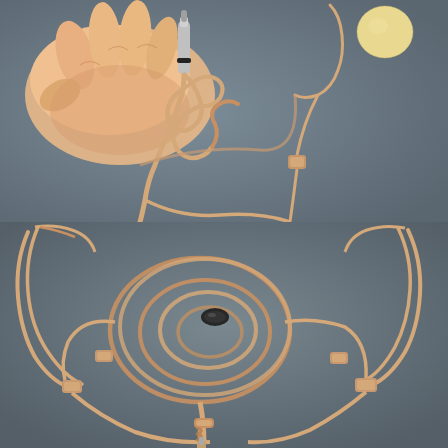[Figure (photo): Close-up photo of a hand holding a beige/skin-colored headset microphone cable with a 3.5mm audio jack plug. The cable is coiled in the hand. In the background on a dark gray surface, the headset microphone boom arm and windscreen (foam ball) are visible.]
[Figure (photo): Product photo of a complete beige/skin-colored headset microphone laid flat on a dark gray surface. The microphone includes a coiled cable bundle secured with a black cable tie, dual ear hooks, an inline connector/splitter, and a 3.5mm plug at the bottom.]